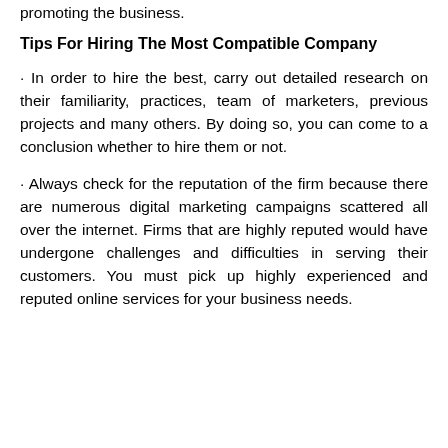promoting the business.
Tips For Hiring The Most Compatible Company
· In order to hire the best, carry out detailed research on their familiarity, practices, team of marketers, previous projects and many others. By doing so, you can come to a conclusion whether to hire them or not.
· Always check for the reputation of the firm because there are numerous digital marketing campaigns scattered all over the internet. Firms that are highly reputed would have undergone challenges and difficulties in serving their customers. You must pick up highly experienced and reputed online services for your business needs.